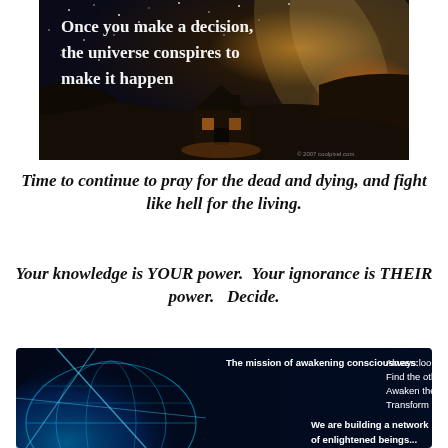[Figure (photo): Night sky photo with a house silhouetted against a starry sky and galaxy band; text overlay reads 'Once you make a decision, the universe conspires to make it happen'; copyright mark bottom right.]
Time to continue to pray for the dead and dying, and fight like hell for the living.
Your knowledge is YOUR power.  Your ignorance is THEIR power.   Decide.
[Figure (photo): Dark background image with a glowing blue globe/network and text: 'The mission of awakening consciousness: Always look deeper within. Find the others. Awaken the others. Transform reality. We are building a network of enlightened beings...']